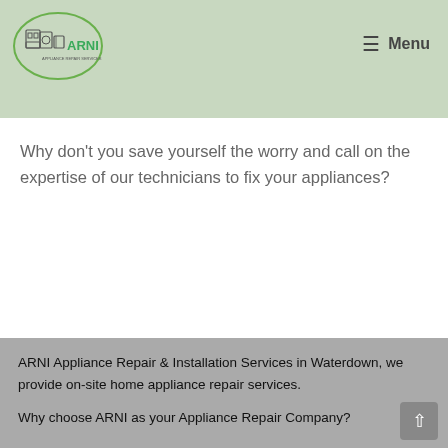ARNI Appliance Repair & Installation Services — Menu
Why don't you save yourself the worry and call on the expertise of our technicians to fix your appliances?
ARNI Appliance Repair & Installation Services in Waterdown, we provide on-site home appliance repair services.
Why choose ARNI as your Appliance Repair Company?
Appliance Repair is ARNI's middle name. We service...